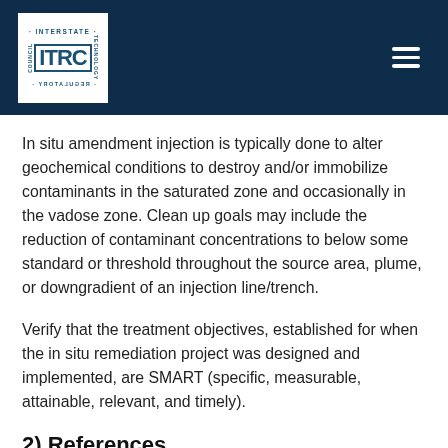ITRC - Interstate Technology & Regulatory Council
In situ amendment injection is typically done to alter geochemical conditions to destroy and/or immobilize contaminants in the saturated zone and occasionally in the vadose zone. Clean up goals may include the reduction of contaminant concentrations to below some standard or threshold throughout the source area, plume, or downgradient of an injection line/trench.
Verify that the treatment objectives, established for when the in situ remediation project was designed and implemented, are SMART (specific, measurable, attainable, relevant, and timely).
2) References